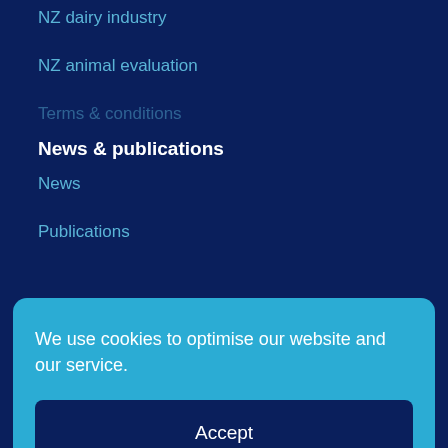NZ dairy industry
NZ animal evaluation
Terms & conditions
News & publications
News
Publications
We use cookies to optimise our website and our service.
Accept
Cookies policy   Privacy notice
Contact